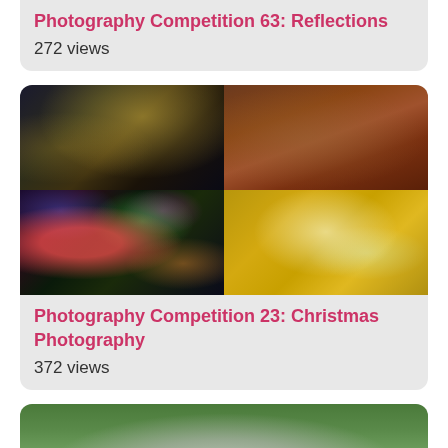Photography Competition 63: Reflections
272 views
[Figure (photo): 2x2 grid of photography competition photos: night market with string lights, Scrabble tiles spelling Louis Vuitton, colorful bokeh with Santa toy, crystal star ornaments]
Photography Competition 23: Christmas Photography
372 views
[Figure (photo): Canon film camera lying on green grass background, partially visible]